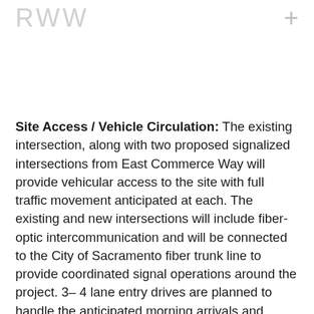RWW +
Site Access / Vehicle Circulation: The existing intersection, along with two proposed signalized intersections from East Commerce Way will provide vehicular access to the site with full traffic movement anticipated at each. The existing and new intersections will include fiber-optic intercommunication and will be connected to the City of Sacramento fiber trunk line to provide coordinated signal operations around the project. 3–4 lane entry drives are planned to handle the anticipated morning arrivals and afternoon departures of office workers. The initial phase will include the infrastructure for the vehicle entry drives, including fencing, and secure access gates. Visitors will arrive through the center drive and intersection to a separate parking area outside of the secured perimeter.